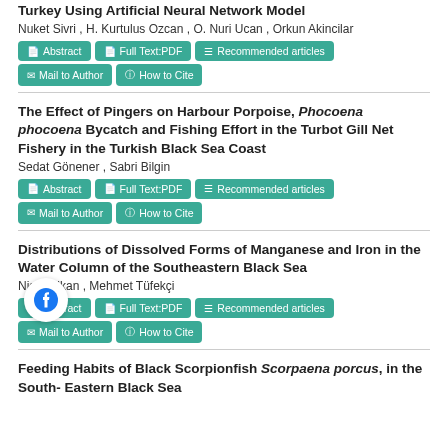Turkey Using Artificial Neural Network Model
Nuket Sivri , H. Kurtulus Ozcan , O. Nuri Ucan , Orkun Akincilar
Abstract | Full Text:PDF | Recommended articles | Mail to Author | How to Cite
The Effect of Pingers on Harbour Porpoise, Phocoena phocoena Bycatch and Fishing Effort in the Turbot Gill Net Fishery in the Turkish Black Sea Coast
Sedat Gönener , Sabri Bilgin
Abstract | Full Text:PDF | Recommended articles | Mail to Author | How to Cite
Distributions of Dissolved Forms of Manganese and Iron in the Water Column of the Southeastern Black Sea
Nigar Alkan , Mehmet Tüfekçi
Abstract | Full Text:PDF | Recommended articles | Mail to Author | How to Cite
Feeding Habits of Black Scorpionfish Scorpaena porcus, in the South- Eastern Black Sea